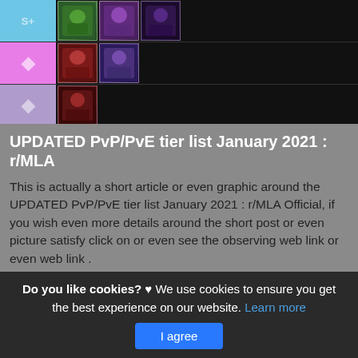[Figure (screenshot): Tier list screenshot showing game character icons arranged in rows with colored tier labels (blue, pink, lavender). Top row has green and purple character icons, second row has red and blue-purple character icons, third row has a dark red character icon.]
UPDATED PvP/PvE tier list January 2021 : r/MLA
This is actually a short article or even graphic around the UPDATED PvP/PvE tier list January 2021 : r/MLA Official, if you wish even more details around the short post or even picture satisfy click on or even see the observing web link or even web link .
(Read More)
Do you like cookies? ♥ We use cookies to ensure you get the best experience on our website. Learn more
I agree